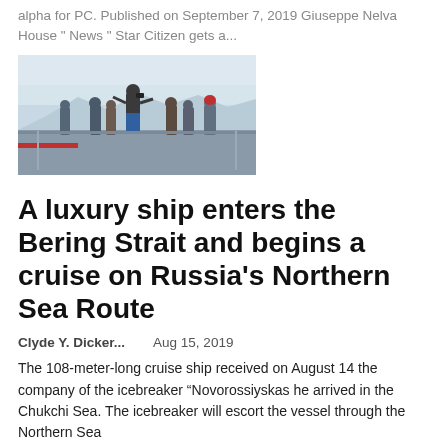alpha for PC. Published on September 7, 2019 Giuseppe Nelva House " News " Star Citizen gets a...
[Figure (photo): People standing on the deck of a ship viewed from behind, looking out at an icy arctic landscape under an overcast sky.]
A luxury ship enters the Bering Strait and begins a cruise on Russia's Northern Sea Route
Clyde Y. Dicker...    Aug 15, 2019
The 108-meter-long cruise ship received on August 14 the company of the icebreaker “Novorossiyskas he arrived in the Chukchi Sea. The icebreaker will escort the vessel through the Northern Sea